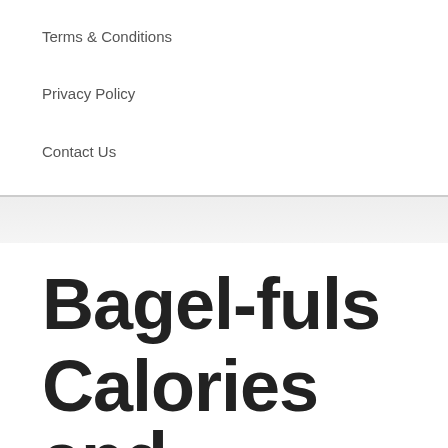Terms & Conditions
Privacy Policy
Contact Us
Bagel-fuls Calories and